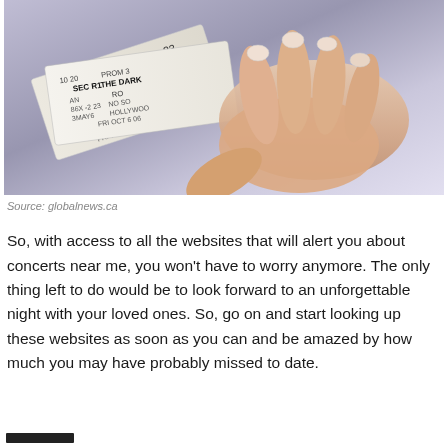[Figure (photo): A hand holding multiple event/concert tickets fanned out, showing text fragments including SEC R1, THE DARK, HOLLYWOOD, FRI OCT 6, SEC H on the tickets. Purple/grey background.]
Source: globalnews.ca
So, with access to all the websites that will alert you about concerts near me, you won't have to worry anymore. The only thing left to do would be to look forward to an unforgettable night with your loved ones. So, go on and start looking up these websites as soon as you can and be amazed by how much you may have probably missed to date.